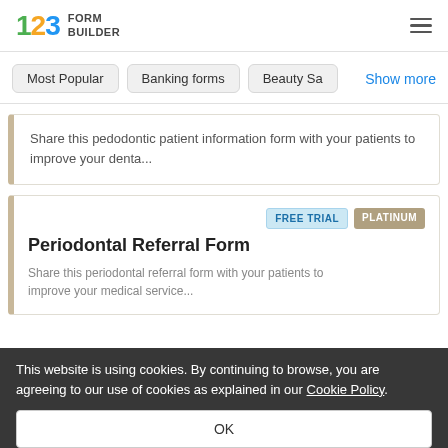123 FORM BUILDER
Most Popular
Banking forms
Beauty Sa
Show more
Share this pedodontic patient information form with your patients to improve your denta...
FREE TRIAL   PLATINUM
Periodontal Referral Form
Share this periodontal referral form with your patients to improve your medical service...
This website is using cookies. By continuing to browse, you are agreeing to our use of cookies as explained in our Cookie Policy.
OK